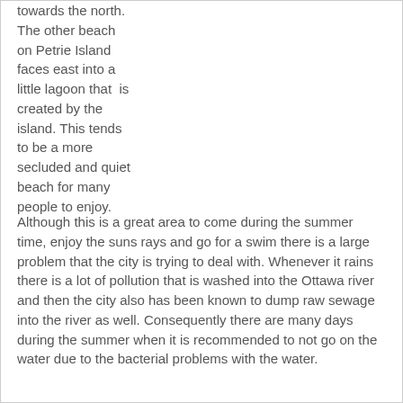towards the north. The other beach on Petrie Island faces east into a little lagoon that is created by the island. This tends to be a more secluded and quiet beach for many people to enjoy.
Although this is a great area to come during the summer time, enjoy the suns rays and go for a swim there is a large problem that the city is trying to deal with. Whenever it rains there is a lot of pollution that is washed into the Ottawa river and then the city also has been known to dump raw sewage into the river as well. Consequently there are many days during the summer when it is recommended to not go on the water due to the bacterial problems with the water.